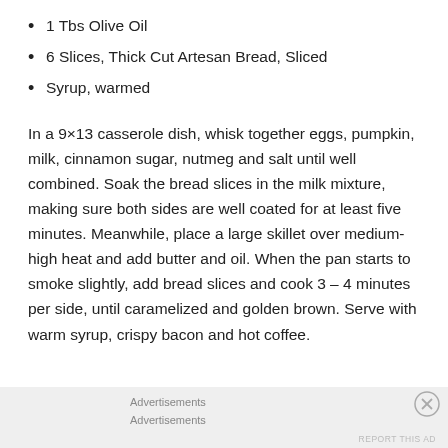1 Tbs Olive Oil
6 Slices, Thick Cut Artesan Bread, Sliced
Syrup, warmed
In a 9×13 casserole dish, whisk together eggs, pumpkin, milk, cinnamon sugar, nutmeg and salt until well combined. Soak the bread slices in the milk mixture, making sure both sides are well coated for at least five minutes. Meanwhile, place a large skillet over medium-high heat and add butter and oil. When the pan starts to smoke slightly, add bread slices and cook 3 – 4 minutes per side, until caramelized and golden brown. Serve with warm syrup, crispy bacon and hot coffee.
Advertisements
Advertisements